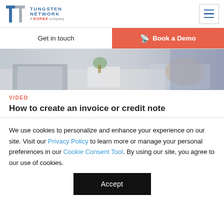Tungsten Network a KOFAX company
Get in touch
Book a Demo
[Figure (photo): Person typing on a laptop keyboard, viewed from above, with a notebook and plant in background]
VIDEO
How to create an invoice or credit note
We use cookies to personalize and enhance your experience on our site. Visit our Privacy Policy to learn more or manage your personal preferences in our Cookie Consent Tool. By using our site, you agree to our use of cookies.
Accept